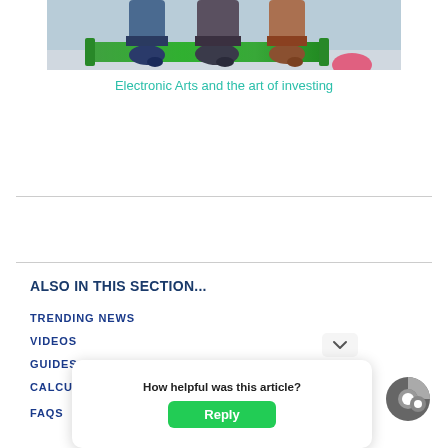[Figure (photo): Group of people sitting on a green couch/sofa, partial view of legs and lower bodies]
Electronic Arts and the art of investing
ALSO IN THIS SECTION...
TRENDING NEWS
VIDEOS
GUIDES
CALCULATORS
FAQS
How helpful was this article?
Reply